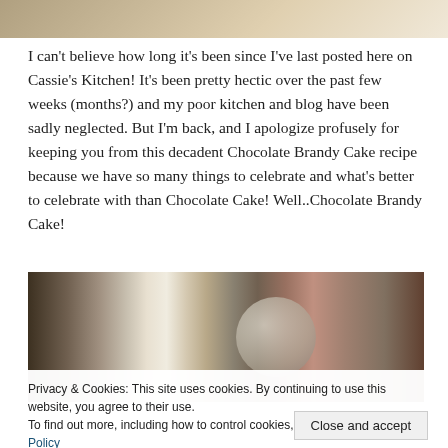[Figure (photo): Top edge of a bowl or plate photo, cropped, neutral warm tones]
I can't believe how long it's been since I've last posted here on Cassie's Kitchen! It's been pretty hectic over the past few weeks (months?) and my poor kitchen and blog have been sadly neglected. But I'm back, and I apologize profusely for keeping you from this decadent Chocolate Brandy Cake recipe because we have so many things to celebrate and what's better to celebrate with than Chocolate Cake! Well..Chocolate Brandy Cake!
[Figure (photo): Kitchen counter photo showing a glass bottle and mason jar with metal lid, warm brown tones]
Privacy & Cookies: This site uses cookies. By continuing to use this website, you agree to their use.
To find out more, including how to control cookies, see here: Cookie Policy
Close and accept